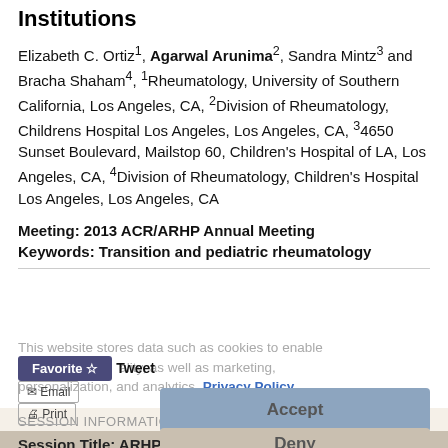Institutions
Elizabeth C. Ortiz1, Agarwal Arunima2, Sandra Mintz3 and Bracha Shaham4, 1Rheumatology, University of Southern California, Los Angeles, CA, 2Division of Rheumatology, Childrens Hospital Los Angeles, Los Angeles, CA, 34650 Sunset Boulevard, Mailstop 60, Children's Hospital of LA, Los Angeles, CA, 4Division of Rheumatology, Children's Hospital Los Angeles, Los Angeles, CA
Meeting: 2013 ACR/ARHP Annual Meeting
Keywords: Transition and pediatric rheumatology
This website stores data such as cookies to enable essential site functionality, as well as marketing, personalization, and analytics. Privacy Policy
Favorite ☆   Tweet   ✉ Email   🖨 Print
Accept
SESSION INFORMATION
Session Title: ARHP Pediatrics
Session Type: Abstract Submissions (ARHP)
Deny